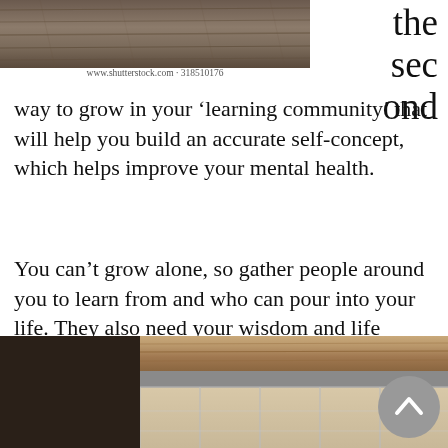[Figure (photo): Top portion of a wooden surface/texture photo, cropped at top of page, approximately 310px wide]
www.shutterstock.com · 318510176
the second
way to grow in your ‘learning community’ that will help you build an accurate self-concept, which helps improve your mental health.
You can’t grow alone, so gather people around you to learn from and who can pour into your life. They also need your wisdom and life experiences, and so you can fill them up.
[Figure (photo): Bottom portion of a wooden planks/table surface photo, partially visible at bottom of page]